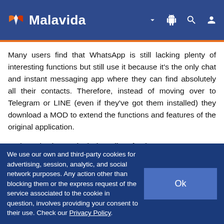Malavida
Many users find that WhatsApp is still lacking plenty of interesting functions but still use it because it's the only chat and instant messaging app where they can find absolutely all their contacts. Therefore, instead of moving over to Telegram or LINE (even if they've got them installed) they download a MOD to extend the functions and features of the original application.
And on the increasingly long list of WhatsApp MODS, we have to point out this YCWhatsApp that, amongst many other things, provides us with a new visual aspect that
We use our own and third-party cookies for advertising, session, analytic, and social network purposes. Any action other than blocking them or the express request of the service associated to the cookie in question, involves providing your consent to their use. Check our Privacy Policy.